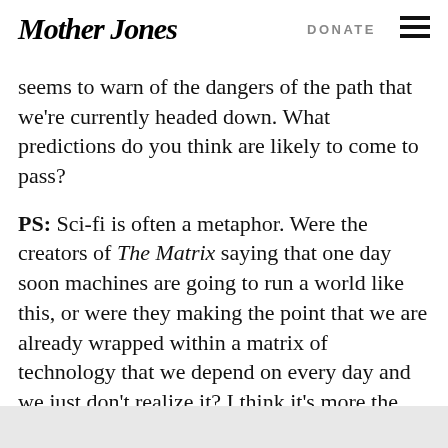Mother Jones   DONATE
seems to warn of the dangers of the path that we're currently headed down. What predictions do you think are likely to come to pass?
PS: Sci-fi is often a metaphor. Were the creators of The Matrix saying that one day soon machines are going to run a world like this, or were they making the point that we are already wrapped within a matrix of technology that we depend on every day and we just don’t realize it? I think it’s more the themes and questions that science fiction raises rather than the exact predictions that should guide us.